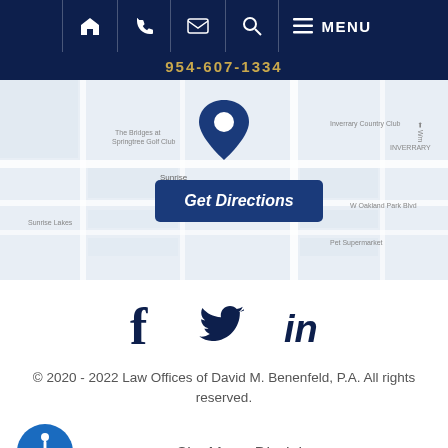Navigation bar with home, phone, email, search, menu icons
954-607-1334
[Figure (map): Google Maps view of Sunrise, FL area showing location pin with Get Directions button]
[Figure (infographic): Social media icons: Facebook, Twitter, LinkedIn]
© 2020 - 2022 Law Offices of David M. Benenfeld, P.A. All rights reserved.
Site Map • Disclaimer